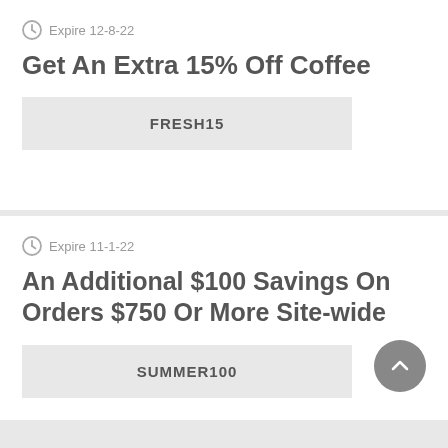Expire 12-8-22
Get An Extra 15% Off Coffee
FRESH15
Expire 11-1-22
An Additional $100 Savings On Orders $750 Or More Site-wide
SUMMER100